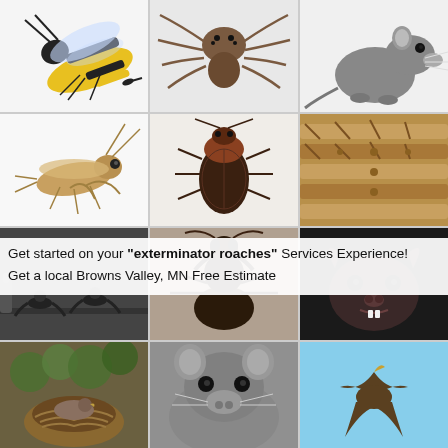[Figure (photo): 3x4 grid of pest control related photos: wasp, spider, rat, cricket, cockroach, centipede, birds/swallows, ant close-up, bat, bird nest, rat close-up, bird silhouette]
Get started on your "exterminator roaches" Services Experience!
Get a local Browns Valley, MN Free Estimate